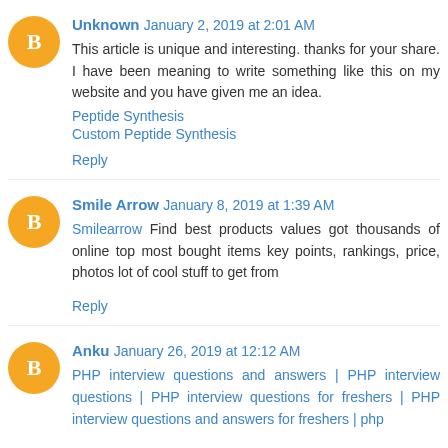Unknown January 2, 2019 at 2:01 AM
This article is unique and interesting. thanks for your share. I have been meaning to write something like this on my website and you have given me an idea.
Peptide Synthesis
Custom Peptide Synthesis
Reply
Smile Arrow January 8, 2019 at 1:39 AM
Smilearrow Find best products values got thousands of online top most bought items key points, rankings, price, photos lot of cool stuff to get from
Reply
Anku January 26, 2019 at 12:12 AM
PHP interview questions and answers | PHP interview questions | PHP interview questions for freshers | PHP interview questions and answers for freshers | php